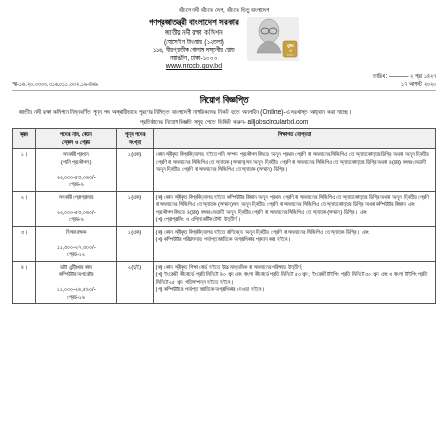বাঁচলে নদী বাঁচবে দেশ, বাঁচবে ভিতু বাংলাদেশ
গণপ্রজাতন্ত্রী বাংলাদেশ সরকার
জাতীয় নদী রক্ষা কমিশন
(হোসেইন টাওয়ার (১২তলা)
১১৬, বীরপ্রতীক গোলাম দস্তগীর রোড
নয়াপল্টন, ঢাকা-১০০০
www.nrccb.gov.bd
স্মা-১৬.২০.০০০০.০১৬.০১১.০০২.১৯-৪৬৯
তারিখ: ২ শ্রা ১৪২৭
১৭ আগস্ট ২০২০
নিয়োগ বিজ্ঞপ্তি
জাতীয় নদী রক্ষা কমিশনে নিম্নবর্ণিত শূন্য পদ অস্থায়ীভাবে পূরণের নিমিত্ত বাংলাদেশী নাগরিকদের নিকট হতে অনলাইন (Online)-এ দরখাস্ত আহ্বান করা যাচ্ছে।
প্রতিষ্ঠানের নিয়োগ বিজ্ঞতি সমূহ পেতে ভিজিট করুন- alljobscircularbd.com
| ক্রম | পদের নাম, বেতন স্কেল ও গ্রেড | শূন্য পদের সংখ্যা | শিক্ষাগত যোগ্যতা |
| --- | --- | --- | --- |
| ১। | সহকারী প্রথান (পানি প্রকৌশল)
২২,০০০-৫৩,০৬০/-
গ্রেড-৯ | ১(এক) | কোন স্বীকৃত বিশ্ববিদ্যালয় হইতে পনি সম্পদ প্রকৌশল বিষয়ে অনূন প্রথম শ্রেণি বা সমমানের সিজিপিএ তে স্নাতকোত্তর ডিগ্রি অথবা অনূন দ্বিতীয় শ্রেণি বা সমমানের সিজিপিএ তে স্নাতক (সম্মান)সহ অনূন দ্বিতীয় শ্রেণি বা সমমানের সিজিপিএ তে স্নাতকোত্তর ডিগ্রি অথবা ৪(চার) বৎসর মেয়াদী অনূন দ্বিতীয় শ্রেণি বা সমমানের সিজিপিএ তে স্নাতক (সম্মান) ডিগ্রি। |
| ২। | সহকারী প্রোগ্রামার
২২,০০০-৫৩,০৬০/-
গ্রেড-৯ | ১(এক) | (ক) কোন স্বীকৃত বিশ্ববিদ্যালয় হইতে কম্পিউটার বিজ্ঞান অনূন প্রথম শ্রেণি বা সমমানের সিজিপিএ তে স্নাতকোত্তর ডিগ্রি অথবা অনূন দ্বিতীয় শ্রেণি বা সমমানের সিজিপিএ তে স্নাতক (সম্মান)সহ অনূন দ্বিতীয় শ্রেণি বা সমমানের সিজিপিএ তে স্নাতকোত্তর ডিগ্রি অথবা কম্পিউটার বিজ্ঞান এবং প্রকৌশল বিষয়ে ৪(চার) বৎসর মেয়াদী অনূন দ্বিতীয় শ্রেণি বা সমমানের সিজিপিএ তে স্নাতক (সম্মান) ডিগ্রি। এবং
(খ) প্রোগ্রামিং ও এপ্লিকেটিক টেস্ট উত্তীর্ণ। |
| ৩। | হিসাব রক্ষক
১১,৩০০-২৭,৩০০/-
গ্রেড-১২ | ১(এক) | (ক) কোন স্বীকৃত বিশ্ববিদ্যালয় হইতে বাণিজ্যে অনূন দ্বিতীয় শ্রেণি বা সমমানের সিজিপিএ তে স্নাতক ডিগ্রি। এবং
(খ) কম্পিউটার পরিচালনায় পর্যাপ্ত জ্ঞাতিকে অগ্রাধিকার প্রদান করা হইবে। |
| ৪। | ডাটা এন্ট্রিখার কাম কম্পিউটার অপারেটর
১১,০০০-২৬,৫৯০/-
গ্রেড-১৬ | ২(দুই) | (ক) কোন স্বীকৃত শিক্ষা বোর্ড হইতে উচ্চ মাধ্যমিক বা সমমানের পরিক্ষায় উত্তীর্ণ;
(খ) ইংরেজী কীবোর্ডে প্রতি মিনিটে ৪০ শব্দ এবং বাংলা কীবোর্ডে প্রতি মিনিটে ৫০ শব্দ; ইংরেজী টাইপিং প্রতি মিনিটে ৩০ শব্দ এবং ও বাংলা টাইপিং প্রতি মিনিটে ২৫ শব্দ গতিসম্পন্ন হইতে হইবে।
(গ) কম্পিউটারে পর্যাপ্ত জ্ঞাতিকে অগ্রাধিকার দেওয়া হইবে। |